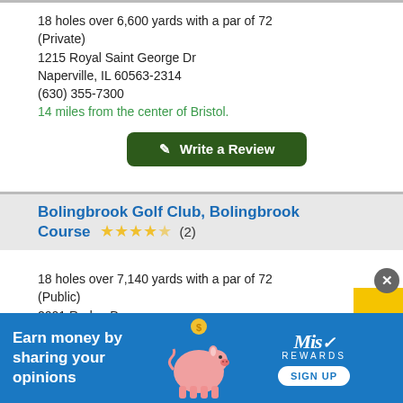18 holes over 6,600 yards with a par of 72 (Private)
1215 Royal Saint George Dr
Naperville, IL 60563-2314
(630) 355-7300
14 miles from the center of Bristol.
Write a Review
Bolingbrook Golf Club, Bolingbrook Course (2) — 4.5 stars
18 holes over 7,140 yards with a par of 72 (Public)
2001 Rodeo Dr
Bolingbrook, IL 60490-3184
(630) 771-9400
14 miles from the center of Bristol.
Write a Review
[Figure (infographic): Advertisement banner: 'Earn money by sharing your opinions' with a piggy bank illustration, Miso Rewards logo, and a Sign Up button on blue background.]